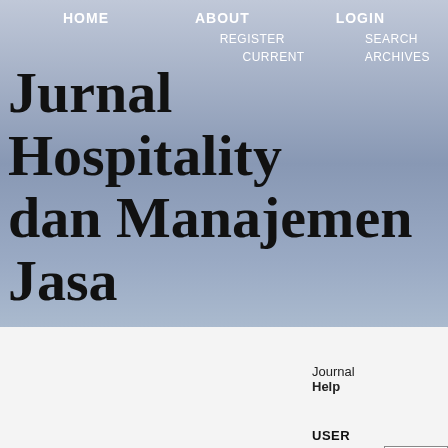HOME   ABOUT   LOGIN   REGISTER   SEARCH   CURRENT   ARCHIVES
Jurnal Hospitality dan Manajemen Jasa
OPEN JOURNAL SYSTEMS
Journal
Help
USER
Username
Password
Remember me
Login